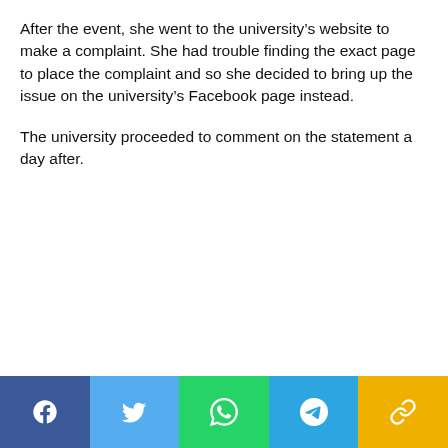After the event, she went to the university’s website to make a complaint. She had trouble finding the exact page to place the complaint and so she decided to bring up the issue on the university’s Facebook page instead.
The university proceeded to comment on the statement a day after.
[Figure (infographic): Social sharing bar with five buttons: Facebook (dark blue), Twitter (light blue), WhatsApp (green), Telegram (sky blue), and a link/share icon (yellow/gold).]